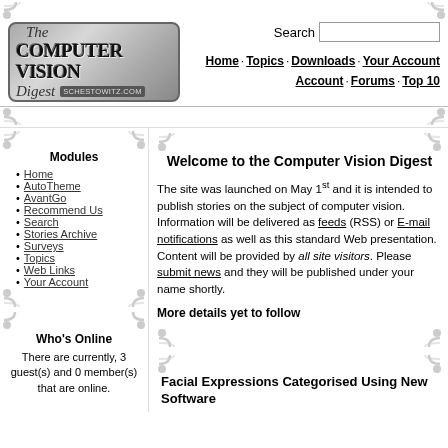[Figure (logo): The Computer Vision Digest logo with stylized metallic text on rounded rectangle border, with schestowitz.com URL]
Search  Home · Topics · Downloads · Your Account · Forums · Top 10
Modules
Home
AutoTheme
AvantGo
Recommend Us
Search
Stories Archive
Surveys
Topics
Web Links
Your Account
Who's Online
There are currently, 3 guest(s) and 0 member(s) that are online.
Welcome to the Computer Vision Digest
The site was launched on May 1st and it is intended to publish stories on the subject of computer vision. Information will be delivered as feeds (RSS) or E-mail notifications as well as this standard Web presentation. Content will be provided by all site visitors. Please submit news and they will be published under your name shortly.
More details yet to follow
Facial Expressions Categorised Using New Software